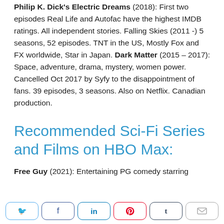Philip K. Dick's Electric Dreams (2018): First two episodes Real Life and Autofac have the highest IMDB ratings. All independent stories. Falling Skies (2011 -) 5 seasons, 52 episodes. TNT in the US, Mostly Fox and FX worldwide, Star in Japan. Dark Matter (2015 – 2017): Space, adventure, drama, mystery, women power. Cancelled Oct 2017 by Syfy to the disappointment of fans. 39 episodes, 3 seasons. Also on Netflix. Canadian production.
Recommended Sci-Fi Series and Films on HBO Max:
Free Guy (2021): Entertaining PG comedy starring
[Figure (other): Social share buttons row: Twitter, Facebook, LinkedIn, Pinterest, Tumblr, Email]